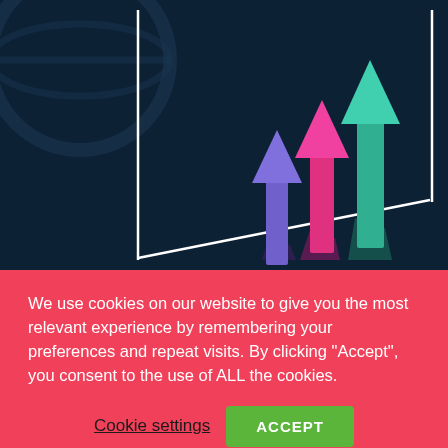[Figure (illustration): Dark navy background with three upward-pointing arrows in purple, pink/magenta, and teal/green colors of increasing height, arranged in perspective with shadows, framed by a white-bordered panel. A circular globe-like symbol is faintly visible in the upper portion.]
We use cookies on our website to give you the most relevant experience by remembering your preferences and repeat visits. By clicking “Accept”, you consent to the use of ALL the cookies.
Cookie settings
ACCEPT